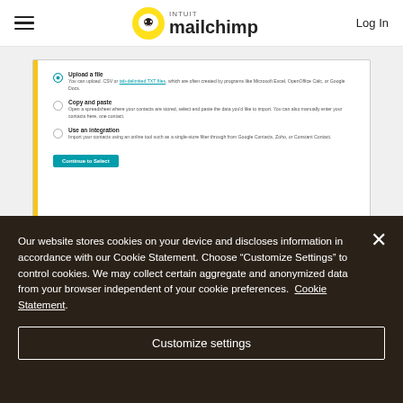Intuit Mailchimp — Log In
[Figure (screenshot): Mailchimp web app screenshot showing a contact import options dialog with three radio options: 'Upload a file' (selected, with link 'tab-delimited TXT files'), 'Copy and paste', and 'Use an integration'. A teal 'Continue to Select' button is visible. Left side has a yellow vertical accent bar.]
Mailchimp's marketing automations keep
Our website stores cookies on your device and discloses information in accordance with our Cookie Statement. Choose "Customize Settings" to control cookies. We may collect certain aggregate and anonymized data from your browser independent of your cookie preferences. Cookie Statement
Customize settings